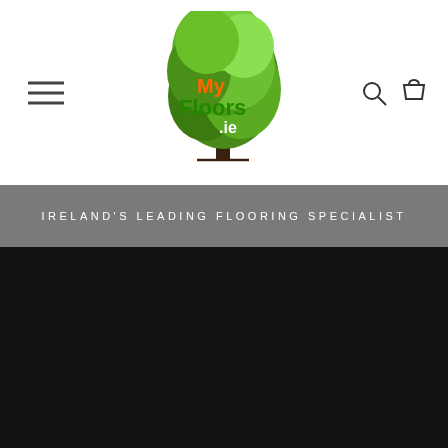[Figure (logo): MyFloors.ie logo with a large green tree and orange/green text reading 'My Floors .ie']
IRELAND'S LEADING FLOORING SPECIALIST
[Figure (photo): Dark almost-black section representing a flooring product image or background]